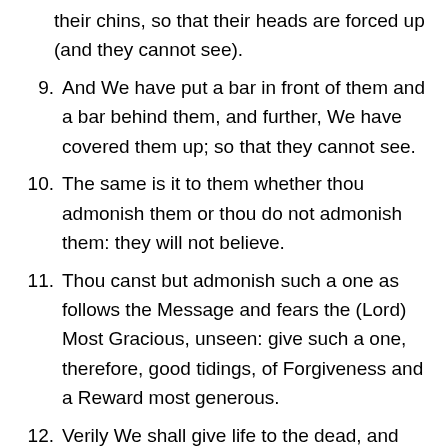their chins, so that their heads are forced up (and they cannot see).
9. And We have put a bar in front of them and a bar behind them, and further, We have covered them up; so that they cannot see.
10. The same is it to them whether thou admonish them or thou do not admonish them: they will not believe.
11. Thou canst but admonish such a one as follows the Message and fears the (Lord) Most Gracious, unseen: give such a one, therefore, good tidings, of Forgiveness and a Reward most generous.
12. Verily We shall give life to the dead, and We record that which they send before and that which they leave behind, and of all things have We